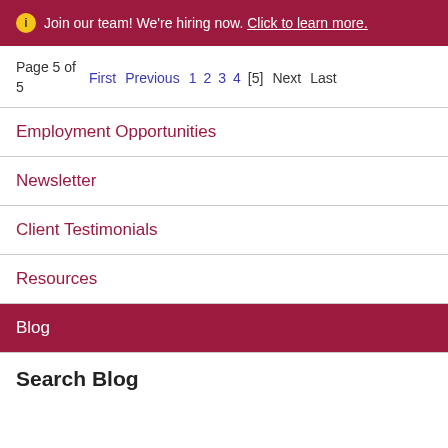ⓘ Join our team! We're hiring now. Click to learn more.
Page 5 of 5   First  Previous  1  2  3  4  [5]  Next  Last
Employment Opportunities
Newsletter
Client Testimonials
Resources
Blog
Search Blog